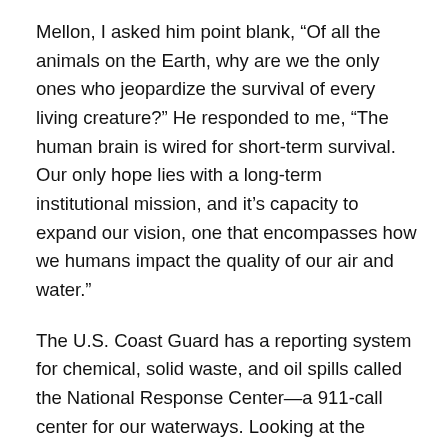Mellon, I asked him point blank, “Of all the animals on the Earth, why are we the only ones who jeopardize the survival of every living creature?” He responded to me, “The human brain is wired for short-term survival. Our only hope lies with a long-term institutional mission, and it’s capacity to expand our vision, one that encompasses how we humans impact the quality of our air and water.”
The U.S. Coast Guard has a reporting system for chemical, solid waste, and oil spills called the National Response Center—a 911-call center for our waterways. Looking at the Center’s reports, there are enough incidents in a year to fill any map, and these are just the ones that get reported. Even with the Clean Water Act in place since 1972, we continue to dirty our water. If we look back another hundred years or so, our waterways, and in